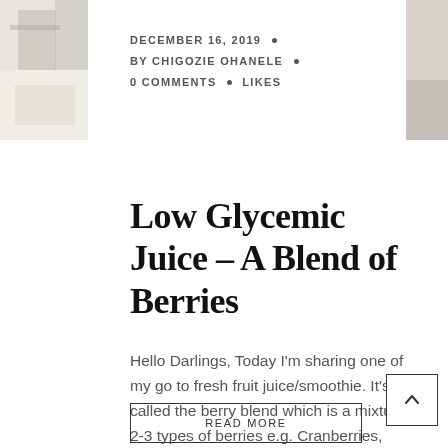[Figure (photo): Decorative food/lifestyle photo strip on left side]
[Figure (photo): Decorative food/lifestyle photo strip on right side]
DECEMBER 16, 2019 • BY CHIGOZIE OHANELE • 0 COMMENTS • LIKES
Low Glycemic Juice – A Blend of Berries
Hello Darlings, Today I'm sharing one of my go to fresh fruit juice/smoothie. It's called the berry blend which is a mixture or 2-3 types of berries e.g. Cranberries, Raspberries, Strawberries, Blackberries etc. It's a great way to get fresh fruit ...
READ MORE